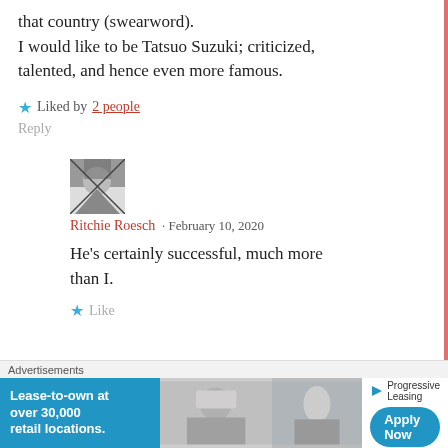that country (swearword).
I would like to be Tatsuo Suzuki; criticized, talented, and hence even more famous.
★ Liked by 2 people
Reply
[Figure (photo): Avatar image for Ritchie Roesch commenter, black and white image]
Ritchie Roesch · February 10, 2020
He's certainly successful, much more than I.
★ Like
Advertisements
[Figure (infographic): Advertisement banner: Progressive Leasing - Lease-to-own at over 30,000 retail locations. Apply Now.]